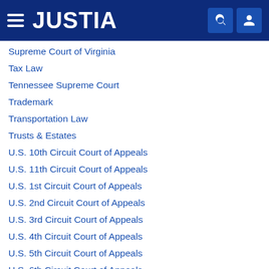JUSTIA
Supreme Court of Virginia
Tax Law
Tennessee Supreme Court
Trademark
Transportation Law
Trusts & Estates
U.S. 10th Circuit Court of Appeals
U.S. 11th Circuit Court of Appeals
U.S. 1st Circuit Court of Appeals
U.S. 2nd Circuit Court of Appeals
U.S. 3rd Circuit Court of Appeals
U.S. 4th Circuit Court of Appeals
U.S. 5th Circuit Court of Appeals
U.S. 6th Circuit Court of Appeals
U.S. 7th Circuit Court of Appeals
U.S. 8th Circuit Court of Appeals
U.S. 9th Circuit Court of Appeals
U.S. Court of Appeals for the District of Columbia Circuit
U.S. Court of Appeals for the Eighth Circuit